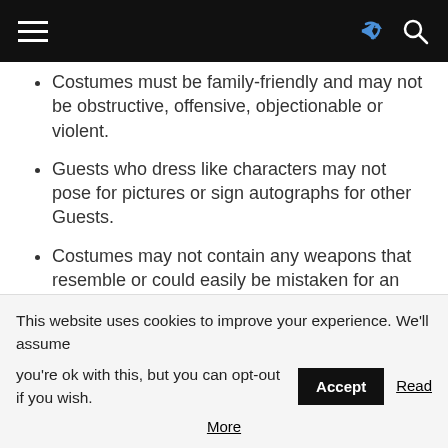Navigation bar with hamburger menu, share icon, and search icon
Costumes must be family-friendly and may not be obstructive, offensive, objectionable or violent.
Guests who dress like characters may not pose for pictures or sign autographs for other Guests.
Costumes may not contain any weapons that resemble or could easily be mistaken for an actual weapon.
Costumes may not contain sharp objects, pointed objects or materials that may
This website uses cookies to improve your experience. We'll assume you're ok with this, but you can opt-out if you wish. Accept Read More